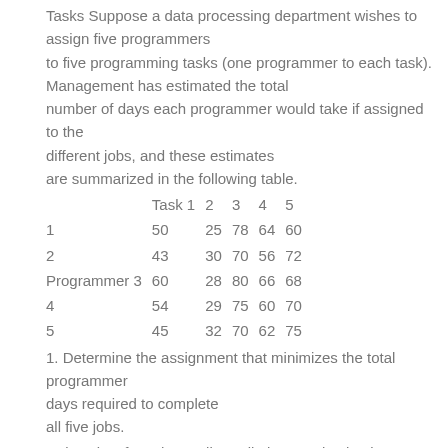Tasks Suppose a data processing department wishes to assign five programmers to five programming tasks (one programmer to each task). Management has estimated the total number of days each programmer would take if assigned to the different jobs, and these estimates are summarized in the following table.
|  | Task 1 | 2 | 3 | 4 | 5 |
| --- | --- | --- | --- | --- | --- |
| 1 | 50 | 25 | 78 | 64 | 60 |
| 2 | 43 | 30 | 70 | 56 | 72 |
| Programmer 3 | 60 | 28 | 80 | 66 | 68 |
| 4 | 54 | 29 | 75 | 60 | 70 |
| 5 | 45 | 32 | 70 | 62 | 75 |
1. Determine the assignment that minimizes the total programmer days required to complete all five jobs.
University of North Carolina Wilmington Simple Linear Programming Excel Task